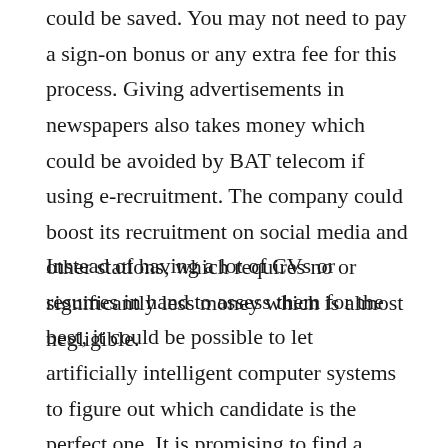could be saved. You may not need to pay a sign-on bonus or any extra fee for this process. Giving advertisements in newspapers also takes money which could be avoided by BAT telecom if using e-recruitment. The company could boost its recruitment on social media and other stations, which requires no or significantly less money which is almost negligible.
Instead of having a lot of CVs or resumes in hand to assess them for the best, it could be possible to let artificially intelligent computer systems to figure out which candidate is the perfect one. It is promising to find a candidate in this way because computers decide everything on fair means according to your